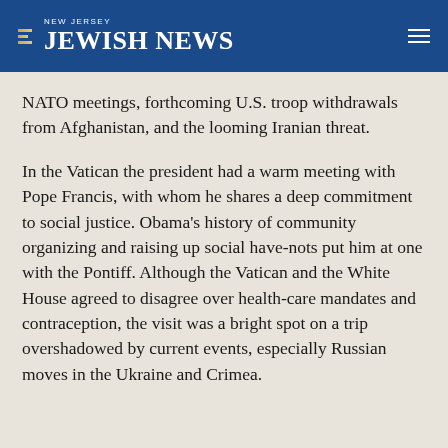NEW JERSEY JEWISH NEWS
NATO meetings, forthcoming U.S. troop withdrawals from Afghanistan, and the looming Iranian threat.
In the Vatican the president had a warm meeting with Pope Francis, with whom he shares a deep commitment to social justice. Obama’s history of community organizing and raising up social have-nots put him at one with the Pontiff. Although the Vatican and the White House agreed to disagree over health-care mandates and contraception, the visit was a bright spot on a trip overshadowed by current events, especially Russian moves in the Ukraine and Crimea.